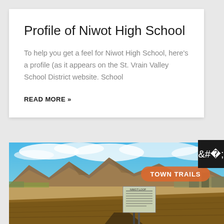Profile of Niwot High School
To help you get a feel for Niwot High School, here’s a profile (as it appears on the St. Vrain Valley School District website. School
READ MORE »
[Figure (photo): Outdoor landscape photo showing mountains, open fields with dry grass, blue sky with clouds, and a trail sign in the foreground. An orange pill-shaped badge reads TOWN TRAILS.]